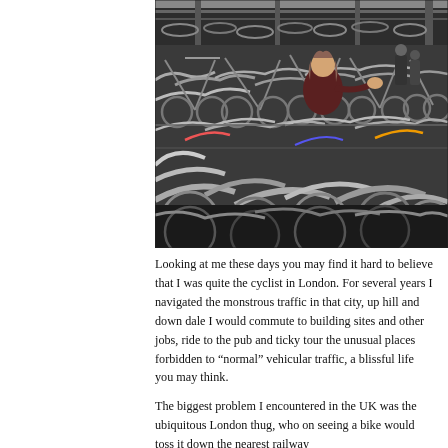[Figure (photo): A crowded bicycle parking area, packed with hundreds of bikes in a multi-level rack structure. A young woman in a dark red top is visible in the middle of the scene navigating through the dense rows of bicycles.]
Looking at me these days you may find it hard to believe that I was quite the cyclist in London. For several years I navigated the monstrous traffic in that city, up hill and down dale I would commute to building sites and other jobs, ride to the pub and ticky tour the unusual places forbidden to “normal” vehicular traffic, a blissful life you may think.
The biggest problem I encountered in the UK was the ubiquitous London thug, who on seeing a bike would toss it down the nearest railway